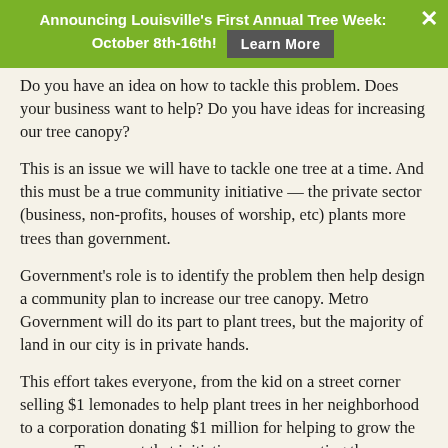Announcing Louisville's First Annual Tree Week: October 8th-16th! Learn More
Do you have an idea on how to tackle this problem. Does your business want to help? Do you have ideas for increasing our tree canopy?
This is an issue we will have to tackle one tree at a time. And this must be a true community initiative — the private sector (business, non-profits, houses of worship, etc) plants more trees than government.
Government's role is to identify the problem then help design a community plan to increase our tree canopy. Metro Government will do its part to plant trees, but the majority of land in our city is in private hands.
This effort takes everyone, from the kid on a street corner selling $1 lemonades to help plant trees in her neighborhood to a corporation donating $1 million for helping to grow the canopy. To support that initiative, we are creating the non-